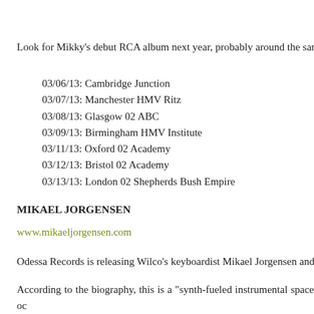Look for Mikky's debut RCA album next year, probably around the same t
03/06/13: Cambridge Junction
03/07/13: Manchester HMV Ritz
03/08/13: Glasgow 02 ABC
03/09/13: Birmingham HMV Institute
03/11/13: Oxford 02 Academy
03/12/13: Bristol 02 Academy
03/13/13: London 02 Shepherds Bush Empire
MIKAEL JORGENSEN
www.mikaeljorgensen.com
Odessa Records is releasing Wilco's keyboardist Mikael Jorgensen and Gr
According to the biography, this is a "synth-fueled instrumental space oc Stereolab proud."